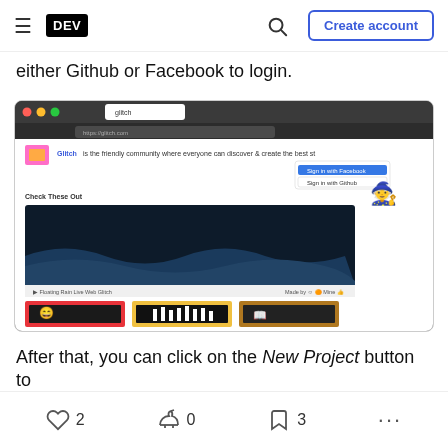DEV | Create account
either Github or Facebook to login.
[Figure (screenshot): Screenshot of the Glitch website showing the Glitch logo, tagline 'Glitch is the friendly community where everyone can discover & create the best st...', a Sign in with Facebook and Sign in with Github dropdown, a dark banner area with wave landscape, and three colorful project thumbnails below.]
After that, you can click on the New Project button to
2  0  3  ...